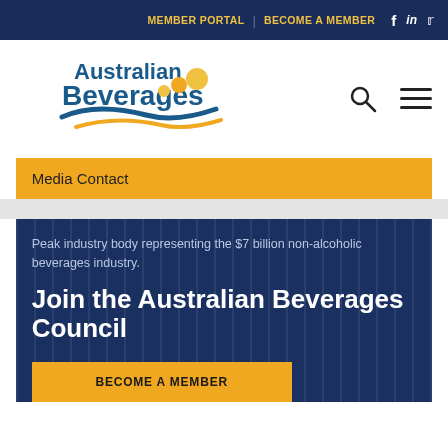MEMBER PORTAL | BECOME A MEMBER
[Figure (logo): Australian Beverages logo with blue text and yellow/blue wave graphic]
Media Contact
Peak industry body representing the $7 billion non-alcoholic beverages industry.
Join the Australian Beverages Council
BECOME A MEMBER